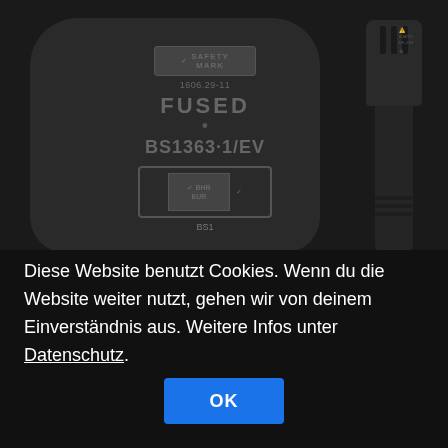[Figure (photo): Photo of the back of a black UK plug showing FUSED marking, BS1363 standard text, safety certification marks, and partial view of a black IEC C7 connector on the right side with markings]
Diese Website benutzt Cookies. Wenn du die Website weiter nutzt, gehen wir von deinem Einverständnis aus. Weitere Infos unter Datenschutz.